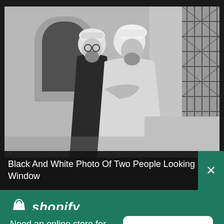[Figure (photo): Black and white photograph of two people in traditional Islamic dress (white robes and turbans) embracing or looking toward a window with ornate metalwork gate/door visible in background]
Black And White Photo Of Two People Looking Out A Window
[Figure (logo): Shopify logo with shopping bag icon and italic 'shopify' text in white on teal/green background]
Need an online store for your business?
Start free trial